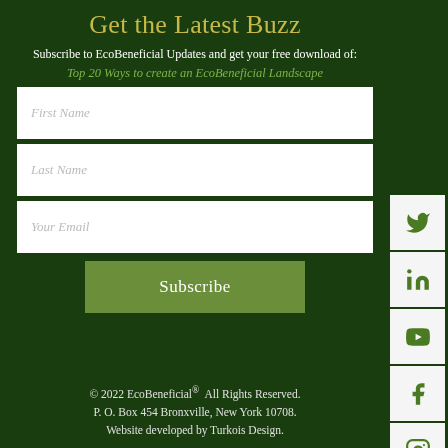Get the Latest Buzz
Subscribe to EcoBeneficial Updates and get your free download of:
Top 20 Ways to create an EcoBeneficial Landscape
[Figure (other): Web form with First Name, Last Name, Your Email input fields and a Subscribe button]
[Figure (other): Social media icons sidebar: Twitter, LinkedIn, YouTube, Facebook, Instagram, Pinterest]
© 2022 EcoBeneficial®  All Rights Reserved.
P. O. Box 454 Bronxville, New York 10708.
Website developed by Turkois Design.